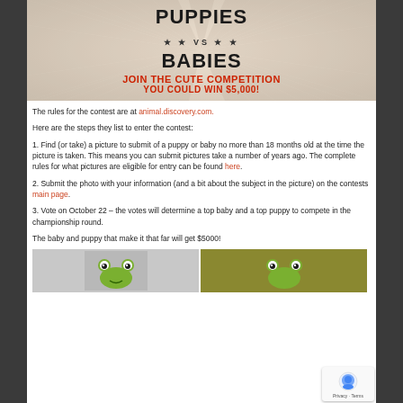[Figure (illustration): Puppies vs Babies promotional banner with rays background, red text 'JOIN THE CUTE COMPETITION YOU COULD WIN $5,000!']
The rules for the contest are at animal.discovery.com.
Here are the steps they list to enter the contest:
1. Find (or take) a picture to submit of a puppy or baby no more than 18 months old at the time the picture is taken. This means you can submit pictures take a number of years ago. The complete rules for what pictures are eligible for entry can be found here.
2. Submit the photo with your information (and a bit about the subject in the picture) on the contests main page.
3. Vote on October 22 – the votes will determine a top baby and a top puppy to compete in the championship round.
The baby and puppy that make it that far will get $5000!
[Figure (photo): Two photos of crocheted frog hats/costumes side by side]